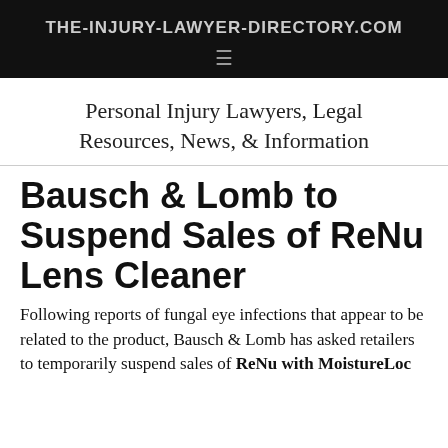THE-INJURY-LAWYER-DIRECTORY.COM
Personal Injury Lawyers, Legal Resources, News, & Information
Bausch & Lomb to Suspend Sales of ReNu Lens Cleaner
Following reports of fungal eye infections that appear to be related to the product, Bausch & Lomb has asked retailers to temporarily suspend sales of ReNu with MoistureLoc